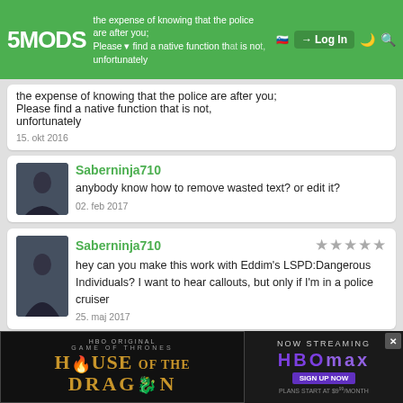5MODS — Log In navigation header
the expense of knowing that the police are after you. Please find a native function that is not, unfortunately
15. okt 2016
Saberninja710
anybody know how to remove wasted text? or edit it?
02. feb 2017
Saberninja710
hey can you make this work with Eddim's LSPD:Dangerous Individuals? I want to hear callouts, but only if I'm in a police cruiser
25. maj 2017
sob Author
Use in conjunction with https://www.gta5-mods.com/scripts/sob-s-extreme-difficulty-health-
[Figure (screenshot): HBO Max advertisement banner: House of the Dragon on the left, HBO Max Now Streaming on the right]